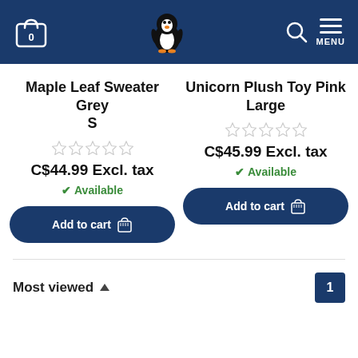Header with cart icon showing 0, penguin logo, search icon, and MENU button
Maple Leaf Sweater Grey S
C$44.99 Excl. tax
Available
Add to cart
Unicorn Plush Toy Pink Large
C$45.99 Excl. tax
Available
Add to cart
Most viewed ▲
1